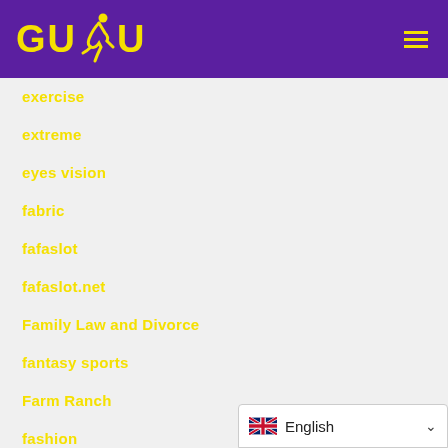[Figure (logo): GUDU logo with yellow text and runner silhouette on purple background, with hamburger menu icon]
exercise
extreme
eyes vision
fabric
fafaslot
fafaslot.net
Family Law and Divorce
fantasy sports
Farm Ranch
fashion
fashion style
fashion style, shopping and product reviews
[Figure (other): Language selector widget showing UK flag and 'English' text with dropdown chevron]